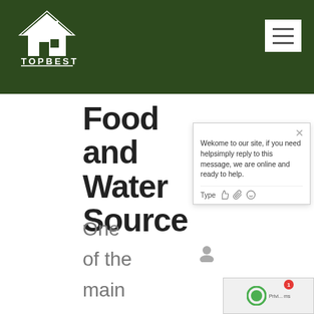TOPBEST
Food and Water Source
One of the main reasons why rats are not going